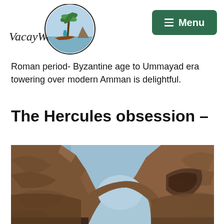[Figure (logo): VacayWork travel blog logo with script text and circular illustration of boat, palm tree, and ocean scene]
[Figure (other): Green rounded rectangle button with hamburger menu icon and white text reading Menu]
Roman period- Byzantine age to Ummayad era towering over modern Amman is delightful.
The Hercules obsession –
[Figure (photo): Photograph taken from below looking up through ancient stone arch at blue sky, with rocky brown stone formations framing the view on left and right sides]